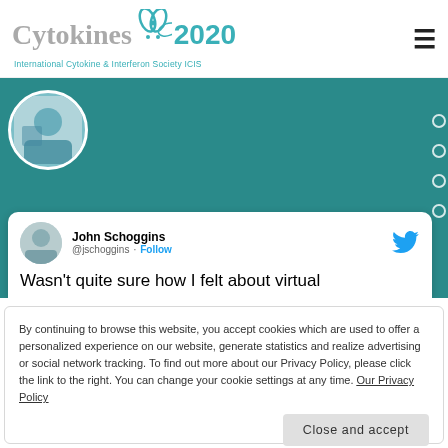Cytokines 2020 — International Cytokine & Interferon Society ICIS
[Figure (screenshot): Teal/dark green banner section showing a circular profile photo on the left side, navigation dots on the right, and an embedded tweet card from John Schoggins (@jschoggins) with text 'Wasn’t quite sure how I felt about virtual']
By continuing to browse this website, you accept cookies which are used to offer a personalized experience on our website, generate statistics and realize advertising or social network tracking. To find out more about our Privacy Policy, please click the link to the right. You can change your cookie settings at any time. Our Privacy Policy
Close and accept